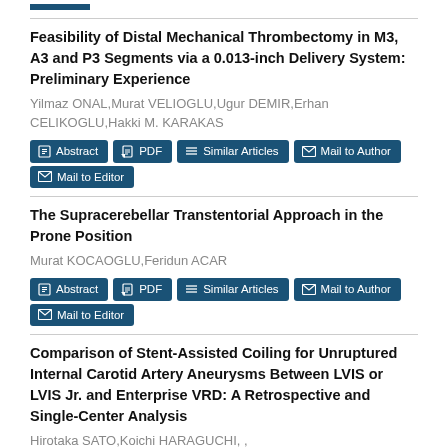Feasibility of Distal Mechanical Thrombectomy in M3, A3 and P3 Segments via a 0.013-inch Delivery System: Preliminary Experience
Yilmaz ONAL,Murat VELIOGLU,Ugur DEMIR,Erhan CELIKOGLU,Hakki M. KARAKAS
The Supracerebellar Transtentorial Approach in the Prone Position
Murat KOCAOGLU,Feridun ACAR
Comparison of Stent-Assisted Coiling for Unruptured Internal Carotid Artery Aneurysms Between LVIS or LVIS Jr. and Enterprise VRD: A Retrospective and Single-Center Analysis
Hirotaka SATO,Koichi HARAGUCHI, ,